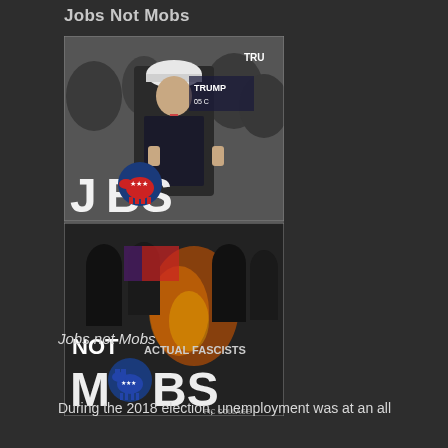Jobs Not Mobs
[Figure (photo): A two-panel political meme. Top panel: A man in a suit and hard hat giving thumbs up at a rally with 'TRUMP' signs, with the text 'JOBS' overlaid and a Republican elephant logo replacing the 'O'. Bottom panel: A dark crowd scene with fire and masked figures, with text 'NOT ACTUAL FASCISTS' and 'MOBS' overlaid with a Democratic donkey logo replacing the 'O'. Watermark: PicCollage.]
Jobs not Mobs
During the 2018 election, unemployment was at an all